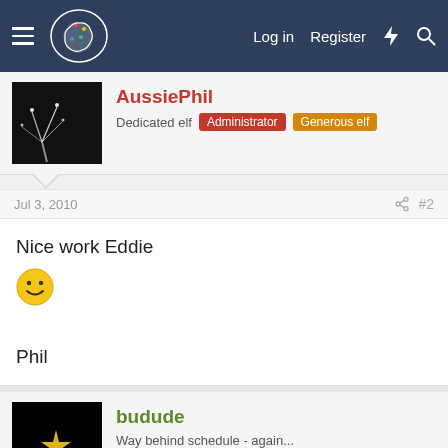Navigation bar with logo, Log in, Register, and search icons
AussiePhil
Dedicated elf  Administrator  Generous elf
Jul 3, 2010  #2
Nice work Eddie
🙂

Phil
budude
Way behind schedule - again...
Jul 4, 2010  #3
Looks great! - I just purchased four of his floods as well - $15 is